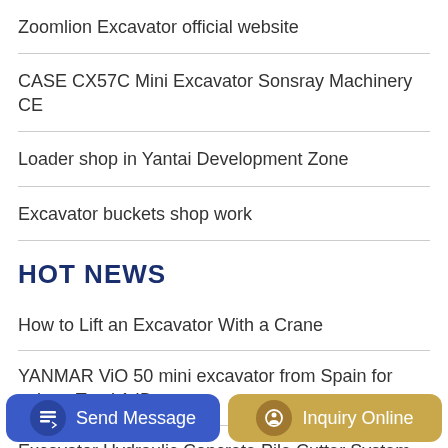Zoomlion Excavator official website
CASE CX57C Mini Excavator Sonsray Machinery CE
Loader shop in Yantai Development Zone
Excavator buckets shop work
HOT NEWS
How to Lift an Excavator With a Crane
YANMAR ViO 50 mini excavator from Spain for sale at Truck1 ID
Excavator Hydraulic Concrete Pile Cutter System – Buy
[Figure (other): Bottom action bar with Send Message button (blue) and Inquiry Online button (gold/tan)]